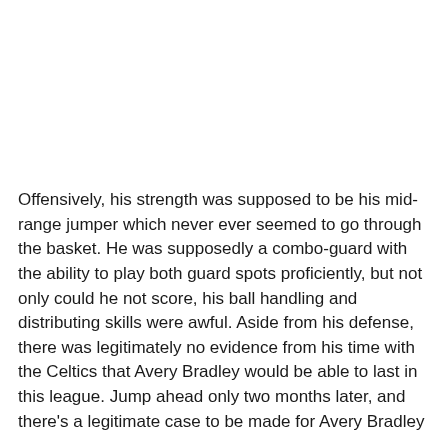Offensively, his strength was supposed to be his mid-range jumper which never ever seemed to go through the basket. He was supposedly a combo-guard with the ability to play both guard spots proficiently, but not only could he not score, his ball handling and distributing skills were awful. Aside from his defense, there was legitimately no evidence from his time with the Celtics that Avery Bradley would be able to last in this league. Jump ahead only two months later, and there's a legitimate case to be made for Avery Bradley